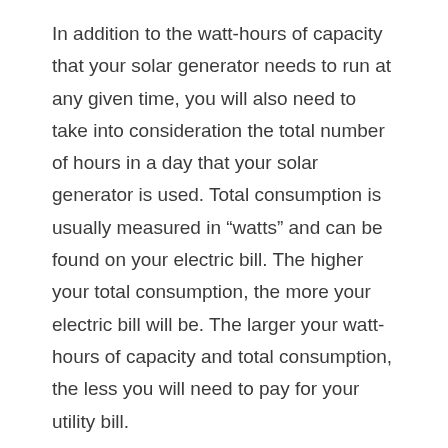In addition to the watt-hours of capacity that your solar generator needs to run at any given time, you will also need to take into consideration the total number of hours in a day that your solar generator is used. Total consumption is usually measured in “watts” and can be found on your electric bill. The higher your total consumption, the more your electric bill will be. The larger your watt-hours of capacity and total consumption, the less you will need to pay for your utility bill.
There are many types of solar generators available on the market today. In addition to the different designs and sizes of generators, there are also different ways in which these devices are constructed. Most solar panel systems consist of multiple panels connected together with wiring. Some of the systems utilize the most efficient types of materials and